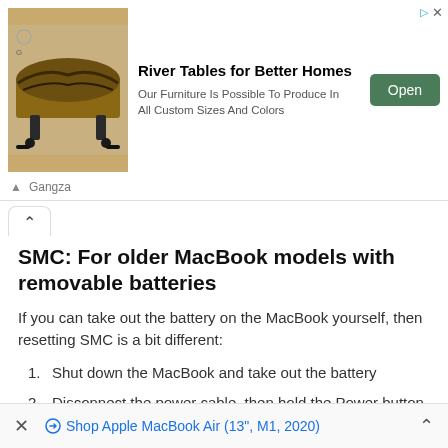[Figure (screenshot): Advertisement banner for 'River Tables for Better Homes' by Gangza, showing a wooden river table image, open button, and description text.]
SMC: For older MacBook models with removable batteries
If you can take out the battery on the MacBook yourself, then resetting SMC is a bit different:
Shut down the MacBook and take out the battery
Disconnect the power cable, then hold the Power button for about 5 seconds, then release the button
Connect the battery again and boot up as usual
× Shop Apple MacBook Air (13", M1, 2020) ^